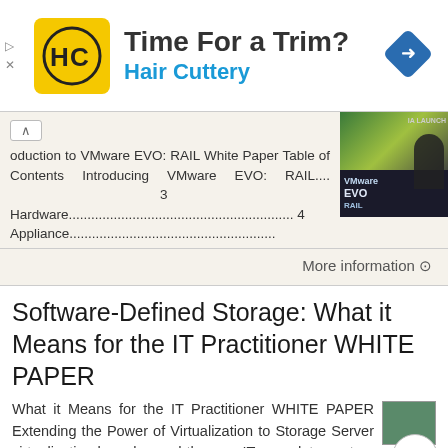[Figure (logo): Hair Cuttery advertisement banner with yellow logo, 'Time For a Trim?' heading, 'Hair Cuttery' brand name in blue, and a blue navigation arrow icon]
oduction to VMware EVO: RAIL White Paper Table of Contents Introducing VMware EVO: RAIL.... 3 Hardware............................................................. 4 Appliance............................................................
More information →
Software-Defined Storage: What it Means for the IT Practitioner WHITE PAPER
What it Means for the IT Practitioner WHITE PAPER Extending the Power of Virtualization to Storage Server virtualization has changed the way IT runs data centers across the world. According to Gartner,